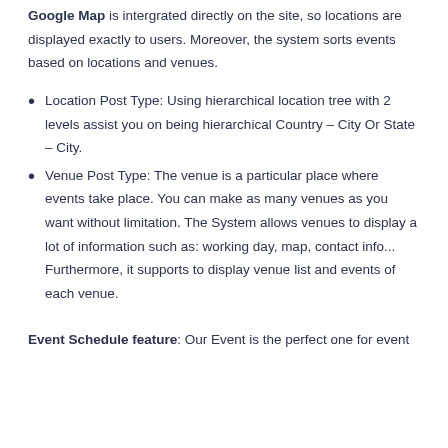Google Map is intergrated directly on the site, so locations are displayed exactly to users. Moreover, the system sorts events based on locations and venues.
Location Post Type: Using hierarchical location tree with 2 levels assist you on being hierarchical Country – City Or State – City.
Venue Post Type: The venue is a particular place where events take place. You can make as many venues as you want without limitation. The System allows venues to display a lot of information such as: working day, map, contact info... Furthermore, it supports to display venue list and events of each venue.
Event Schedule feature: Our Event is the perfect one for event